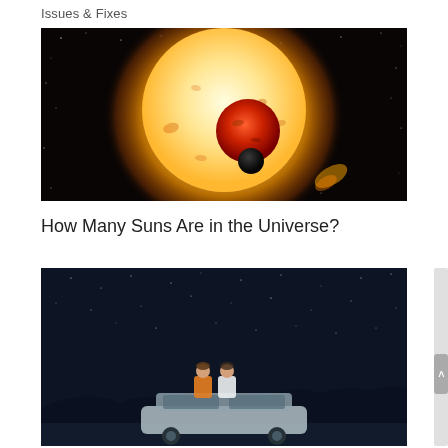Issues & Fixes
[Figure (illustration): Artistic illustration of a binary star system: a large bright yellow-white star with a smaller red/orange planet and a dark planet in the foreground, set against a black starfield background]
How Many Suns Are in the Universe?
[Figure (photo): Photo of two people sitting on top of a car at night, looking up at a starry night sky]